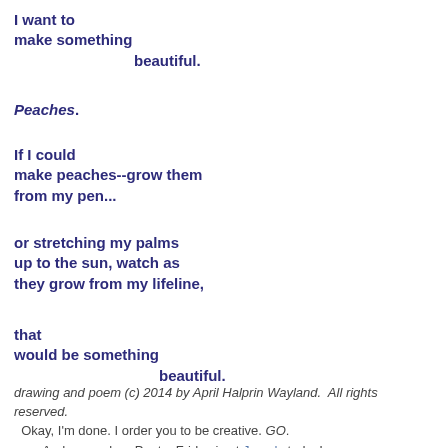I want to
make something
                    beautiful.
Peaches.
If I could
make peaches--grow them
from my pen...
or stretching my palms
up to the sun, watch as
they grow from my lifeline,
that
would be something
                        beautiful.
drawing and poem (c) 2014 by April Halprin Wayland.  All rights reserved.
  Okay, I'm done. I order you to be creative. GO.
        And remember, Poetry Friday is at Jama's today!